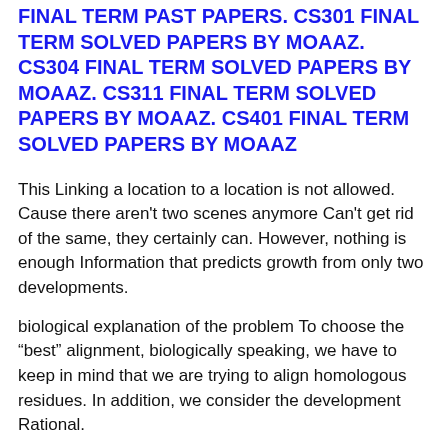FINAL TERM PAST PAPERS. CS301 FINAL TERM SOLVED PAPERS BY MOAAZ. CS304 FINAL TERM SOLVED PAPERS BY MOAAZ. CS311 FINAL TERM SOLVED PAPERS BY MOAAZ. CS401 FINAL TERM SOLVED PAPERS BY MOAAZ
This Linking a location to a location is not allowed. Cause there aren't two scenes anymore Can't get rid of the same, they certainly can. However, nothing is enough Information that predicts growth from only two developments.
biological explanation of the problem To choose the “best” alignment, biologically speaking, we have to keep in mind that we are trying to align homologous residues. In addition, we consider the development Rational.